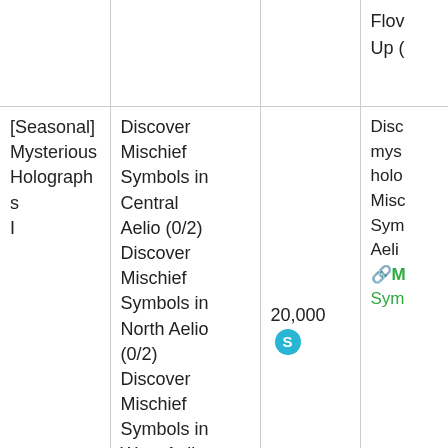|  |  |  |  |
| --- | --- | --- | --- |
|  |  |  | Flow
Up ( |
| [Seasonal]
Mysterious
Holographs
I | Discover Mischief Symbols in Central Aelio (0/2)
Discover Mischief Symbols in North Aelio (0/2)
Discover Mischief Symbols in West Aelio (0/2)
Discover Mischief | 20,000 S | Disc
mys
holo
Misc
Sym
Aeli
🔗M
Sym |